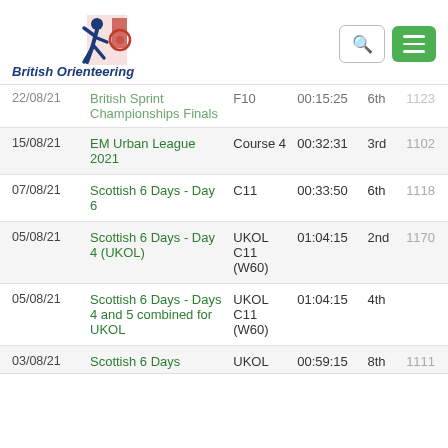[Figure (logo): British Orienteering logo with running figure and red/blue design, text 'British Orienteering' in dark blue italic]
| Date | Event | Course | Time | Pos | Score |
| --- | --- | --- | --- | --- | --- |
| 22/08/21 | British Sprint Championships Finals | F10 | 00:15:25 | 6th | 1123 |
| 15/08/21 | EM Urban League 2021 | Course 4 | 00:32:31 | 3rd | 1102 |
| 07/08/21 | Scottish 6 Days - Day 6 | C11 | 00:33:50 | 6th | 1118 |
| 05/08/21 | Scottish 6 Days - Day 4 (UKOL) | UKOL C11 (W60) | 01:04:15 | 2nd | 1170 |
| 05/08/21 | Scottish 6 Days - Days 4 and 5 combined for UKOL | UKOL C11 (W60) | 01:04:15 | 4th |  |
| 03/08/21 | Scottish 6 Days | UKOL | 00:59:15 | 8th | 1111 |